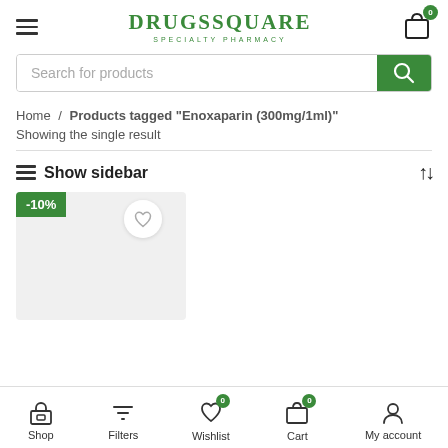Drugssquare Specialty Pharmacy
Search for products
Home / Products tagged "Enoxaparin (300mg/1ml)"
Showing the single result
Show sidebar
[Figure (other): Product card with -10% discount badge and wishlist heart button on a gray background]
Shop | Filters | Wishlist 0 | Cart 0 | My account